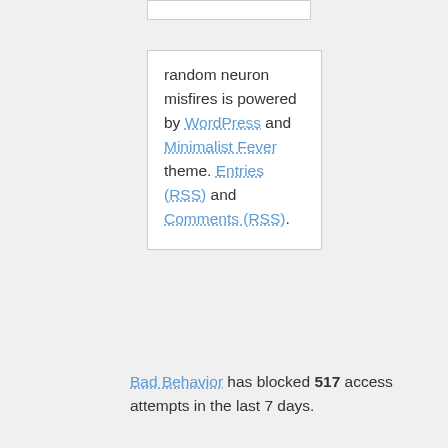random neuron misfires is powered by WordPress and Minimalist Fever theme. Entries (RSS) and Comments (RSS).
Bad Behavior has blocked 517 access attempts in the last 7 days.